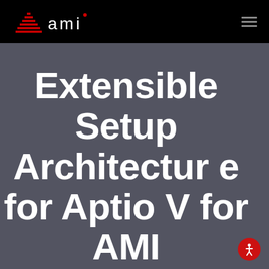[Figure (logo): AMI logo: red triangular/layered mountain shape followed by 'ami' in white lowercase text with registered trademark symbol, on black background]
Extensible Setup Architecture for Aptio V for AMI